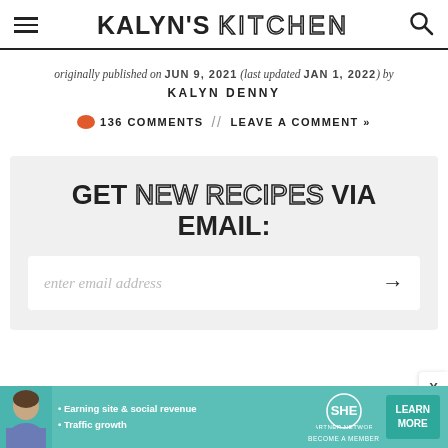KALYN'S KITCHEN
originally published on JUN 9, 2021 (last updated JAN 1, 2022) by KALYN DENNY
136 COMMENTS // LEAVE A COMMENT »
GET NEW RECIPES VIA EMAIL:
enter email address
[Figure (infographic): Advertisement banner for SHE Partner Network with text: Earning site & social revenue, Traffic growth, LEARN MORE button]
X